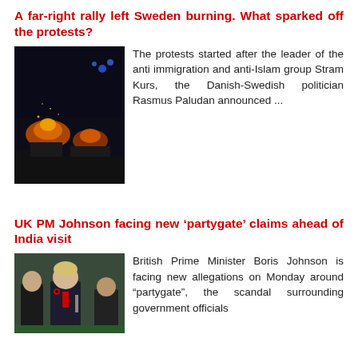A far-right rally left Sweden burning. What sparked off the protests?
[Figure (photo): Night-time photograph showing fires and police lights at a protest scene in Sweden]
The protests started after the leader of the anti immigration and anti-Islam group Stram Kurs, the Danish-Swedish politician Rasmus Paludan announced ...
UK PM Johnson facing new ‘partygate’ claims ahead of India visit
[Figure (photo): Photograph of British Prime Minister Boris Johnson in the House of Commons]
British Prime Minister Boris Johnson is facing new allegations on Monday around “partygate”, the scandal surrounding government officials